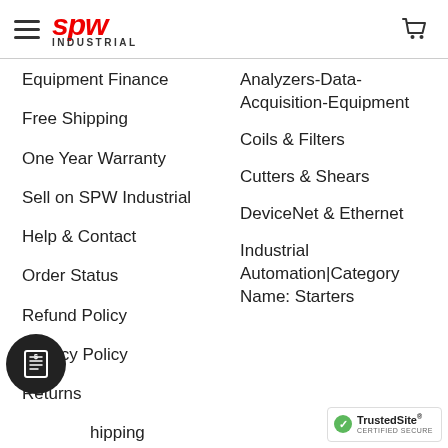SPW Industrial navigation header with hamburger menu and cart icon
Equipment Finance
Free Shipping
One Year Warranty
Sell on SPW Industrial
Help & Contact
Order Status
Refund Policy
Privacy Policy
Returns
Shipping
Shipping & Tracking
Analyzers-Data-Acquisition-Equipment
Coils & Filters
Cutters & Shears
DeviceNet & Ethernet
Industrial Automation|Category Name: Starters